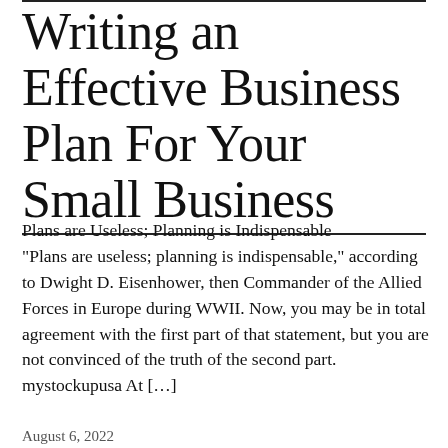Writing an Effective Business Plan For Your Small Business
Plans are Useless; Planning is Indispensable "Plans are useless; planning is indispensable," according to Dwight D. Eisenhower, then Commander of the Allied Forces in Europe during WWII. Now, you may be in total agreement with the first part of that statement, but you are not convinced of the truth of the second part. mystockupusa At […]
August 6, 2022